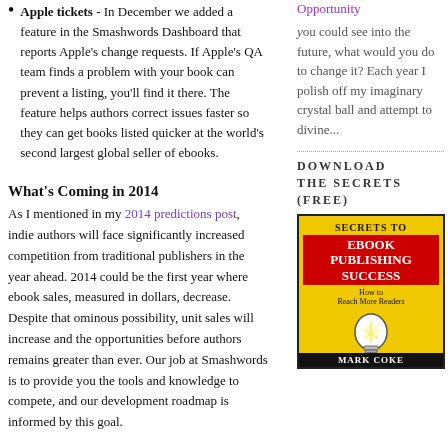Apple tickets - In December we added a feature in the Smashwords Dashboard that reports Apple's change requests. If Apple's QA team finds a problem with your book can prevent a listing, you'll find it there. The feature helps authors correct issues faster so they can get books listed quicker at the world's second largest global seller of ebooks.
Opportunity
you could see into the future, what would you do to change it? Each year I polish off my imaginary crystal ball and attempt to divine...
What's Coming in 2014
As I mentioned in my 2014 predictions post, indie authors will face significantly increased competition from traditional publishers in the year ahead. 2014 could be the first year where ebook sales, measured in dollars, decrease. Despite that ominous possibility, unit sales will increase and the opportunities before authors remains greater than ever. Our job at Smashwords is to provide you the tools and knowledge to compete, and our development roadmap is informed by this goal.
DOWNLOAD THE SECRETS (FREE)
[Figure (illustration): Book cover: Secrets to Ebook Publishing Success - How to Reach More Readers, by Mark Coker. Yellow background with red title band and light bulb illustration.]